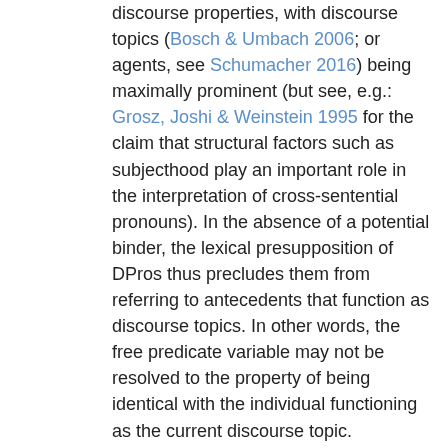discourse properties, with discourse topics (Bosch & Umbach 2006; or agents, see Schumacher 2016) being maximally prominent (but see, e.g.: Grosz, Joshi & Weinstein 1995 for the claim that structural factors such as subjecthood play an important role in the interpretation of cross-sentential pronouns). In the absence of a potential binder, the lexical presupposition of DPros thus precludes them from referring to antecedents that function as discourse topics. In other words, the free predicate variable may not be resolved to the property of being identical with the individual functioning as the current discourse topic.
Concerning the co-referential behavior of DPros, the analysis of Hinterwimmer (2015) thus makes exactly the same predictions as the analysis provided by Bosch and Umbach (2006). Although Hinterwimmer (2015) does not provide an explicit discussion of languages other than German, his reasoning generalizes to any language that has marked and unmarked pronouns, as long as prominence in terms of topicality and subjecthood makes clear whether to use the unmarked pronoun.